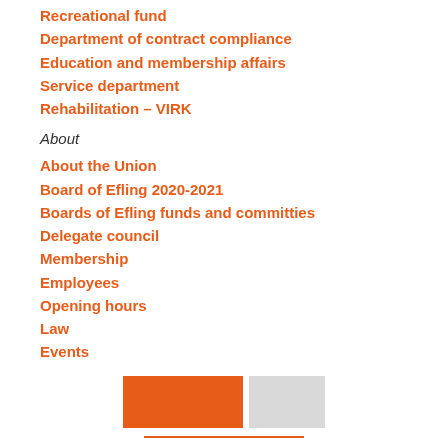Recreational fund
Department of contract compliance
Education and membership affairs
Service department
Rehabilitation – VIRK
About
About the Union
Board of Efling 2020-2021
Boards of Efling funds and committies
Delegate council
Membership
Employees
Opening hours
Law
Events
[Figure (other): Two UI buttons: one orange and one gray, with an orange underline bar below]